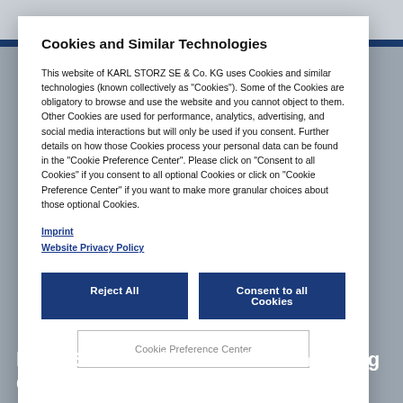Cookies and Similar Technologies
This website of KARL STORZ SE & Co. KG uses Cookies and similar technologies (known collectively as "Cookies"). Some of the Cookies are obligatory to browse and use the website and you cannot object to them. Other Cookies are used for performance, analytics, advertising, and social media interactions but will only be used if you consent. Further details on how those Cookies process your personal data can be found in the "Cookie Preference Center". Please click on "Consent to all Cookies" if you consent to all optional Cookies or click on "Cookie Preference Center" if you want to make more granular choices about those optional Cookies.
Imprint
Website Privacy Policy
Reject All
Consent to all Cookies
Cookie Preference Center
latest Solution for Visualization During Complex Surgeries